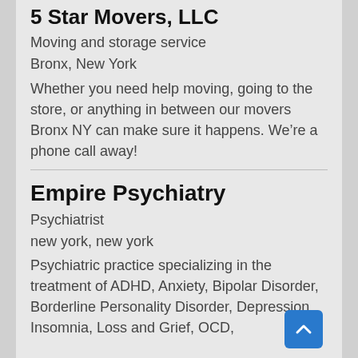5 Star Movers, LLC
Moving and storage service
Bronx, New York
Whether you need help moving, going to the store, or anything in between our movers Bronx NY can make sure it happens. We’re a phone call away!
Empire Psychiatry
Psychiatrist
new york, new york
Psychiatric practice specializing in the treatment of ADHD, Anxiety, Bipolar Disorder, Borderline Personality Disorder, Depression, Insomnia, Loss and Grief, OCD,